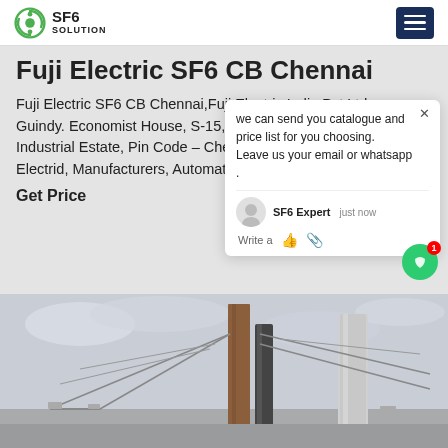SF6 SOLUTION
Fuji Electric SF6 CB Chennai
Fuji Electric SF6 CB Chennai,Fuji Electric India Pvt Ltd. Guindy. Economist House, S-15, 1st Cross Road, Industrial Estate, Pin Code – Chennai. 04442036718. Fuji Electric, Manufacturers, Automation
Get Price
[Figure (screenshot): Chat popup from SF6 Expert saying: we can send you catalogue and price list for you choosing. Leave us your email or whatsapp. With avatar, thumbs-up and paperclip icons.]
[Figure (photo): Outdoor industrial electrical substation equipment with tall cylindrical SF6 circuit breaker columns and steel lattice structures against a cloudy sky.]